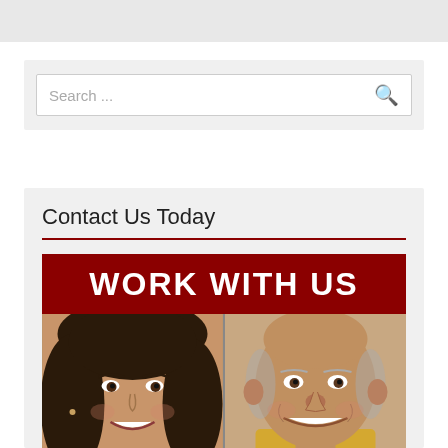[Figure (screenshot): Search bar with placeholder text 'Search ...' and a search icon on the right]
Contact Us Today
[Figure (photo): Work With Us banner in dark red with white bold text, below which are two people smiling — a woman on the left and a man on the right]